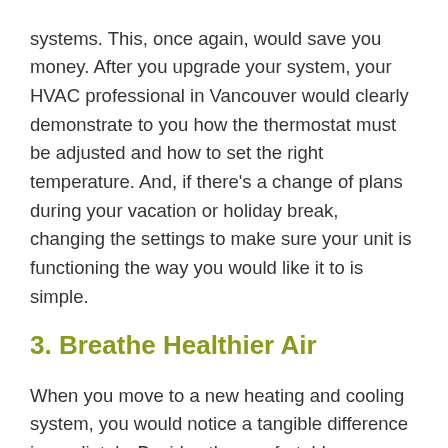systems. This, once again, would save you money. After you upgrade your system, your HVAC professional in Vancouver would clearly demonstrate to you how the thermostat must be adjusted and how to set the right temperature. And, if there's a change of plans during your vacation or holiday break, changing the settings to make sure your unit is functioning the way you would like it to is simple.
3. Breathe Healthier Air
When you move to a new heating and cooling system, you would notice a tangible difference immediately. Besides the comfortable temperature levels in different rooms of your house, the quality of air inside the house would get better too.
These latest high-efficiency setups are equipped with variable speed motors that make sure the air flow is both good-quality and consistent. The thing you probably don't